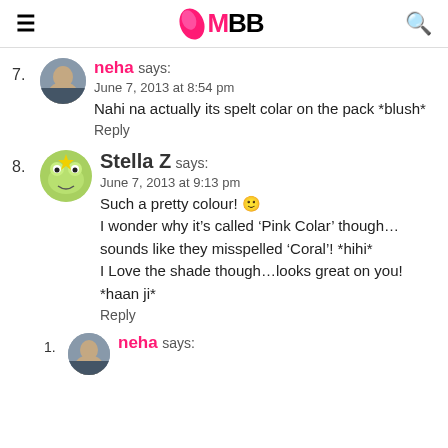IMBB
7. neha says:
June 7, 2013 at 8:54 pm
Nahi na actually its spelt colar on the pack *blush*
Reply
8. Stella Z says:
June 7, 2013 at 9:13 pm
Such a pretty colour! :) I wonder why it's called ‘Pink Colar’ though… sounds like they misspelled ‘Coral’! *hihi* I Love the shade though…looks great on you! *haan ji*
Reply
1. neha says: